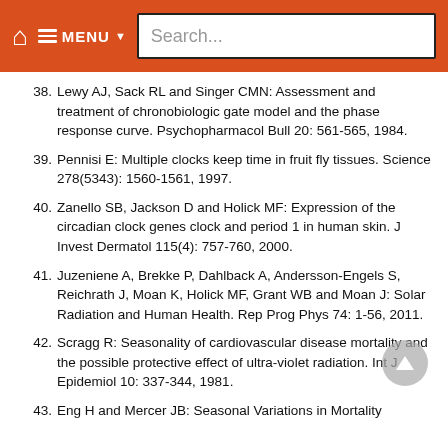MENU Search...
38. Lewy AJ, Sack RL and Singer CMN: Assessment and treatment of chronobiologic gate model and the phase response curve. Psychopharmacol Bull 20: 561-565, 1984.
39. Pennisi E: Multiple clocks keep time in fruit fly tissues. Science 278(5343): 1560-1561, 1997.
40. Zanello SB, Jackson D and Holick MF: Expression of the circadian clock genes clock and period 1 in human skin. J Invest Dermatol 115(4): 757-760, 2000.
41. Juzeniene A, Brekke P, Dahlback A, Andersson-Engels S, Reichrath J, Moan K, Holick MF, Grant WB and Moan J: Solar Radiation and Human Health. Rep Prog Phys 74: 1-56, 2011.
42. Scragg R: Seasonality of cardiovascular disease mortality and the possible protective effect of ultra-violet radiation. Int J Epidemiol 10: 337-344, 1981.
43. Eng H and Mercer JB: Seasonal Variations in Mortality